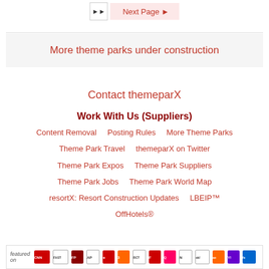Next Page ▶
More theme parks under construction
Contact themeparX
Work With Us (Suppliers)
Content Removal    Posting Rules    More Theme Parks    Theme Park Travel    themeparX on Twitter    Theme Park Expos    Theme Park Suppliers    Theme Park Jobs    Theme Park World Map    resortX: Resort Construction Updates    LBEIP™    OffHotels®
featured on [logos: CNN, FAST, FP, AP, Time, 3, RCT, F, QM, N, ok!, ao, Yahoo, more]